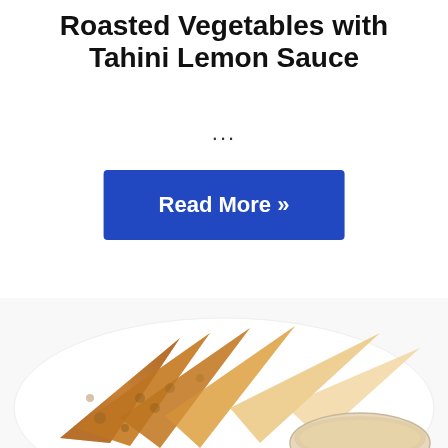Roasted Vegetables with Tahini Lemon Sauce
...
Read More »
[Figure (photo): Toasted pita bread triangles fanned out on a white plate with a bowl of creamy dipping sauce visible at the bottom right, viewed from above on a white background.]